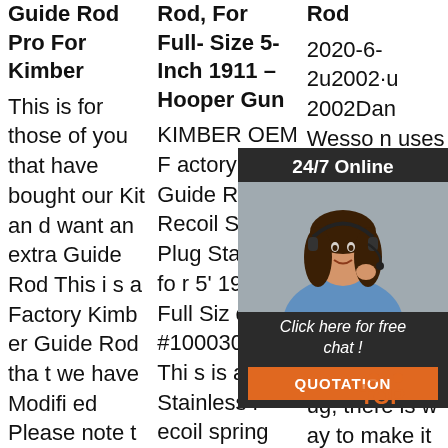Guide Rod Pro For Kimber
This is for those of you that have bought our Kit and want an extra Guide Rod This is a Factory Kimber Guide Rod that we have Modified Please note this is for the Guide Rod ONLY there is no Tool. Kimber Manufacturing is an America
Rod, For Full-Size 5-Inch 1911 – Hooper Gun
KIMBER OEM Factory Guide Rod Recoil Spring Plug Stainless for 5' 1911 Full Size #1000301A This is a Stainless recoil spring plug for all Kimber 5-inch 1911's with Kimber full length guide rod. Package contains 1
Rod
2020-6-2u2002·u2002Dan Wesson uses a GI style guide rod, so its d… Wor… (can… guide… lat s… h). … 4', h… has a bull barrel and a reverse plug; there is no way to make it work with a GI plug t
[Figure (infographic): Customer support widget overlay: dark background with '24/7 Online' header, photo of woman with headset, 'Click here for free chat!' text, orange QUOTATION button]